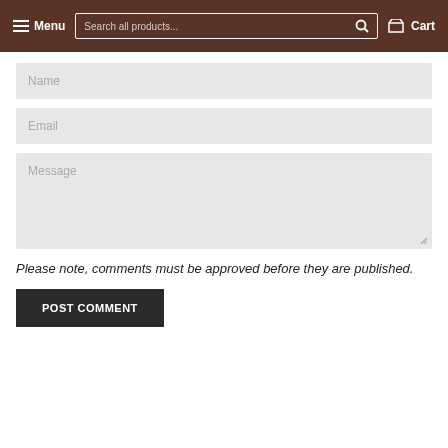Menu  Search all products...  Cart
Name
Email
Message
Please note, comments must be approved before they are published.
POST COMMENT